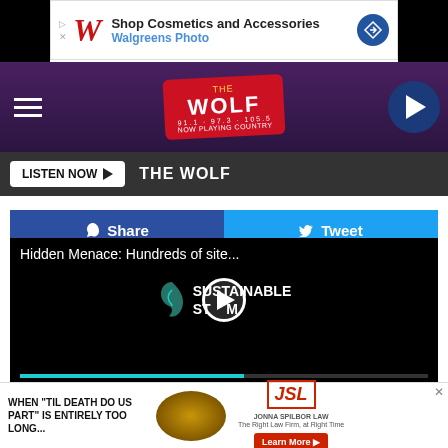[Figure (screenshot): Walgreens Photo advertisement banner: Shop Cosmetics and Accessories]
[Figure (logo): The Wolf radio station navigation bar with logo, hamburger menu, and play button]
[Figure (screenshot): LISTEN NOW button and THE WOLF label on dark bar]
[Figure (screenshot): Facebook Share and Twitter Tweet buttons]
[Figure (screenshot): Video player showing Sustainable Storm logo with title 'Hidden Menace: Hundreds of site...' and progress bar]
Se To...
[Figure (screenshot): Bottom advertisement: WHEN TIL DEATH DO US PART IS ENTIRELY TOO LONG... JSL Jonna Spilbor Law firm, Learn More button]